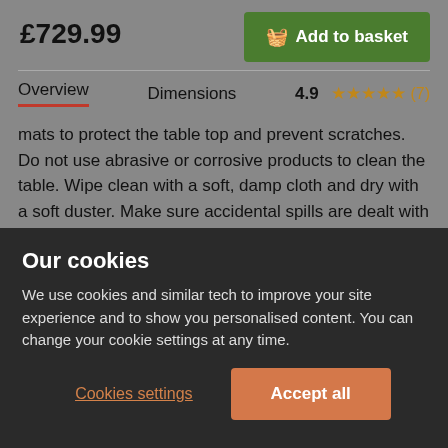£729.99
[Figure (other): Add to basket button with basket icon]
Overview   Dimensions   4.9 ★★★★★ (7)
mats to protect the table top and prevent scratches. Do not use abrasive or corrosive products to clean the table. Wipe clean with a soft, damp cloth and dry with a soft duster. Make sure accidental spills are dealt with immediately.
Chairs
Our cookies
We use cookies and similar tech to improve your site experience and to show you personalised content. You can change your cookie settings at any time.
Cookies settings   Accept all